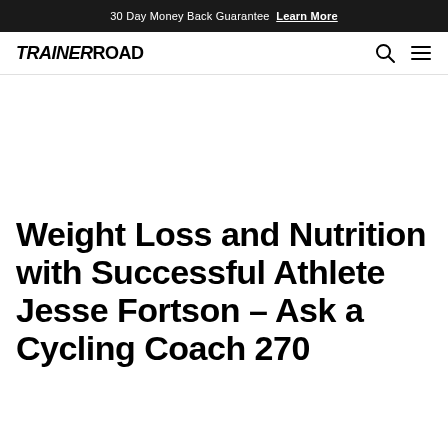30 Day Money Back Guarantee  Learn More
TRAINERROAD
Weight Loss and Nutrition with Successful Athlete Jesse Fortson – Ask a Cycling Coach 270